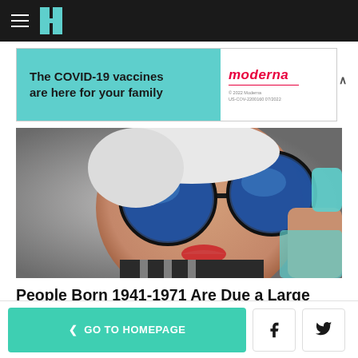HuffPost navigation bar with hamburger menu and logo
[Figure (advertisement): Moderna COVID-19 vaccine advertisement banner. Left side teal background with text 'The COVID-19 vaccines are here for your family'. Right side white with Moderna logo and copyright text '© 2022 Moderna US-COV-2200160 07/2022'.]
[Figure (photo): Close-up photo of an elderly woman wearing large round blue mirrored sunglasses, with white hair, red lipstick, and a striped outfit with a light blue top visible.]
People Born 1941-1971 Are Due a Large Surprise
The Wallet Watcher
WHAT'S HOT
< GO TO HOMEPAGE